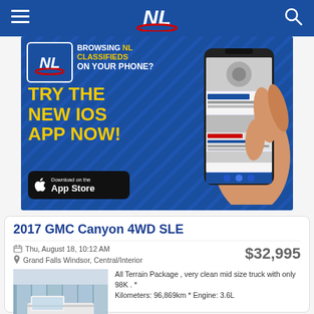NL
[Figure (screenshot): NL Classifieds app advertisement banner. Blue background with text: BROWSING NL CLASSIFIEDS ON YOUR PHONE? TRY THE NEW iOS APP NOW! Download on the App Store. Shows a hand holding a smartphone displaying classifieds listings.]
2017 GMC Canyon 4WD SLE
Thu, August 18, 10:12 AM
$32,995
Grand Falls Windsor, Central/Interior
[Figure (photo): Photo of a white GMC Canyon truck parked in front of a dealership building with glass facade.]
All Terrain Package , very clean mid size truck with only 98K . * Kilometers: 96,869km * Engine: 3.6L